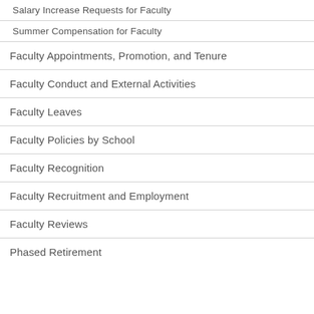Salary Increase Requests for Faculty
Summer Compensation for Faculty
Faculty Appointments, Promotion, and Tenure
Faculty Conduct and External Activities
Faculty Leaves
Faculty Policies by School
Faculty Recognition
Faculty Recruitment and Employment
Faculty Reviews
Phased Retirement